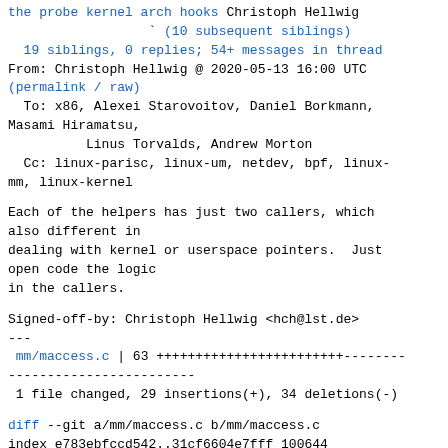the probe kernel arch hooks Christoph Hellwig
` (10 subsequent siblings)
19 siblings, 0 replies; 54+ messages in thread
From: Christoph Hellwig @ 2020-05-13 16:00 UTC
(permalink / raw)
  To: x86, Alexei Starovoitov, Daniel Borkmann, Masami Hiramatsu,
          Linus Torvalds, Andrew Morton
  Cc: linux-parisc, linux-um, netdev, bpf, linux-mm, linux-kernel
Each of the helpers has just two callers, which also different in
dealing with kernel or userspace pointers.  Just open code the logic
in the callers.
Signed-off-by: Christoph Hellwig <hch@lst.de>
---
 mm/maccess.c | 63 ++++++++++++++++++++++++---------------------------------------
 1 file changed, 29 insertions(+), 34 deletions(-)
diff --git a/mm/maccess.c b/mm/maccess.c
index e783ebfccd542..31cf6604e7fff 100644
--- a/mm/maccess.c
+++ b/mm/maccess.c
@@ -6,30 +6,6 @@
 #include <linux/mm.h>
 #include <linux/uaccess.h>